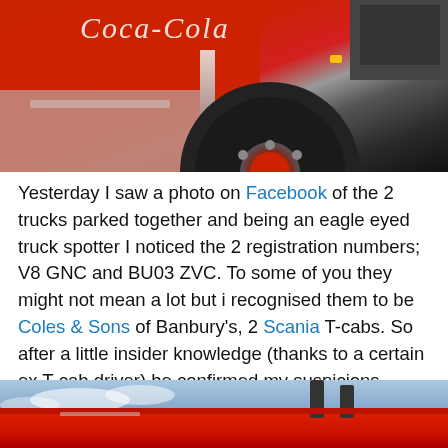[Figure (photo): Close-up photo of red Coca-Cola truck showing cab front, chrome details, and large wheel]
Yesterday I saw a photo on Facebook of the 2 trucks parked together and being an eagle eyed truck spotter I noticed the 2 registration numbers; V8 GNC and BU03 ZVC. To some of you they might not mean a lot but i recognised them to be Coles & Sons of Banbury's, 2 Scania T-cabs. So after a little insider knowledge (thanks to a certain ex T-cab driver) he confirmed my suspicions.
[Figure (photo): Bottom portion of second photo showing red Coca-Cola truck from a different angle against sky]